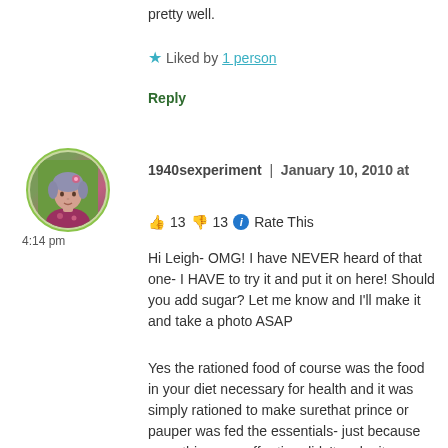pretty well.
★ Liked by 1 person
Reply
[Figure (photo): Circular avatar photo of a woman with gray/purple hair and floral outfit, with green border]
4:14 pm
1940sexperiment | January 10, 2010 at
👍 13 👎 13 ℹ Rate This
Hi Leigh- OMG! I have NEVER heard of that one- I HAVE to try it and put it on here! Should you add sugar? Let me know and I'll make it and take a photo ASAP
Yes the rationed food of course was the food in your diet necessary for health and it was simply rationed to make surethat prince or pauper was fed the essentials- just because something was off ration didn't make it available. As you say it all depended when